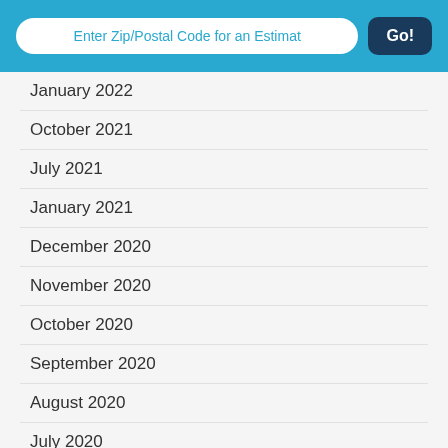Enter Zip/Postal Code for an Estimat  Go!
January 2022
October 2021
July 2021
January 2021
December 2020
November 2020
October 2020
September 2020
August 2020
July 2020
June 2020
May 2020
April 2020
March 2020